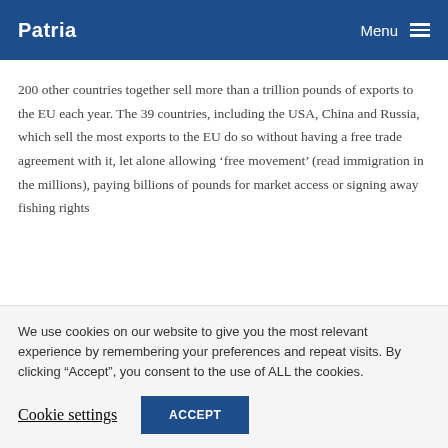Patria  Menu
200 other countries together sell more than a trillion pounds of exports to the EU each year. The 39 countries, including the USA, China and Russia, which sell the most exports to the EU do so without having a free trade agreement with it, let alone allowing ‘free movement’ (read immigration in the millions), paying billions of pounds for market access or signing away fishing rights
We use cookies on our website to give you the most relevant experience by remembering your preferences and repeat visits. By clicking “Accept”, you consent to the use of ALL the cookies.
Cookie settings   ACCEPT